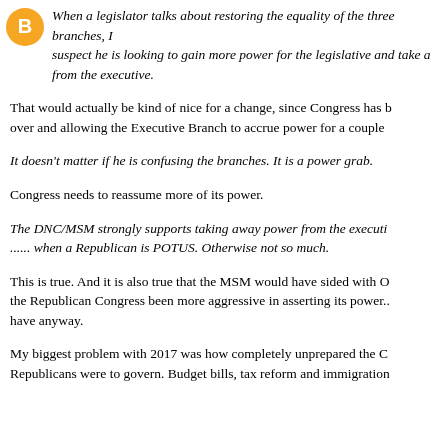When a legislator talks about restoring the equality of the three branches, I suspect he is looking to gain more power for the legislative and take a away from the executive.
That would actually be kind of nice for a change, since Congress has been rolling over and allowing the Executive Branch to accrue power for a couple of decades.
It doesn't matter if he is confusing the branches. It is a power grab.
Congress needs to reassume more of its power.
The DNC/MSM strongly supports taking away power from the executive...... when a Republican is POTUS. Otherwise not so much.
This is true. And it is also true that the MSM would have sided with Obama had the Republican Congress been more aggressive in asserting its power... which they should have anyway.
My biggest problem with 2017 was how completely unprepared the Congressional Republicans were to govern. Budget bills, tax reform and immigration...